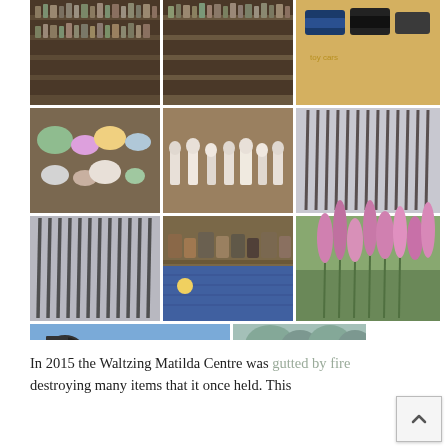[Figure (photo): A 3x4 grid of museum/collection photographs showing: shelves with bottles and jars, shelves with colorful ceramics and glassware, toy cars on yellow background, pottery and ceramic bowls, white ceramic figurines, rifles/guns displayed vertically, more rifles, vintage tins/canisters on shelves and blue shipping container, pink flowering plants, a black steam locomotive, and a bronze statue/sculpture outdoors.]
In 2015 the Waltzing Matilda Centre was gutted by fire destroying many items that it once held. This